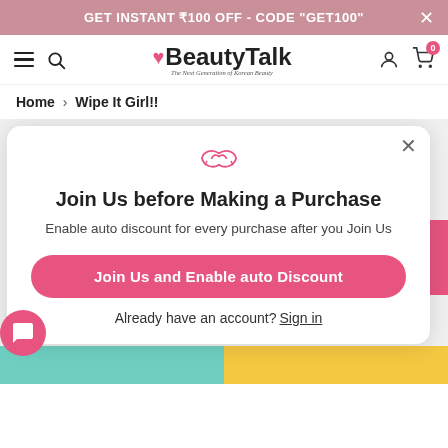GET INSTANT ₹100 OFF - CODE "GET100"
[Figure (screenshot): BeautyTalk e-commerce website navigation bar with hamburger menu, search icon, BeautyTalk logo with heart, user icon and cart icon with badge 0]
Home > Wipe It Girl!!
[Figure (screenshot): Modal popup with handshake icon, title 'Join Us before Making a Purchase', description 'Enable auto discount for every purchase after you Join Us', pink button 'Join Us and Enable auto Discount', and sign in link]
Join Us before Making a Purchase
Enable auto discount for every purchase after you Join Us
Join Us and Enable auto Discount
Already have an account? Sign in